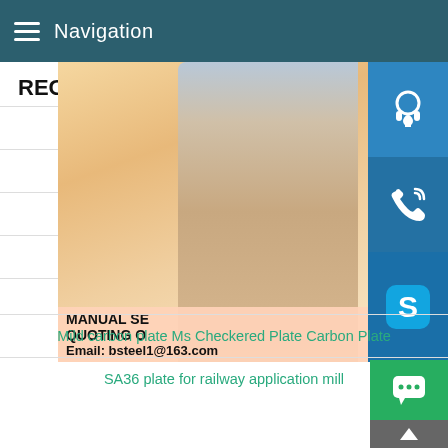Navigation
RECENT NEWS
mechanical properties of s
QSTE550TM steel qu
astm e24 material comp
properties of en 1 012
aisi 1010 steel plate
[Figure (photo): Customer service representative woman with headset smiling, with overlay icons for headset, phone, and Skype, and a manual service/quoting panel with email bsteel1@163.com]
Mild carbon plate Ms Checkered Plate Carbon Plate
SA36 plate for railway application mill